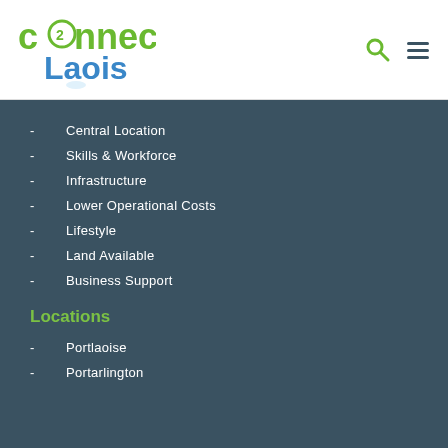[Figure (logo): connect2Laois logo — green and blue text with a circular '2' icon]
- Central Location
- Skills & Workforce
- Infrastructure
- Lower Operational Costs
- Lifestyle
- Land Available
- Business Support
Locations
- Portlaoise
- Portarlington